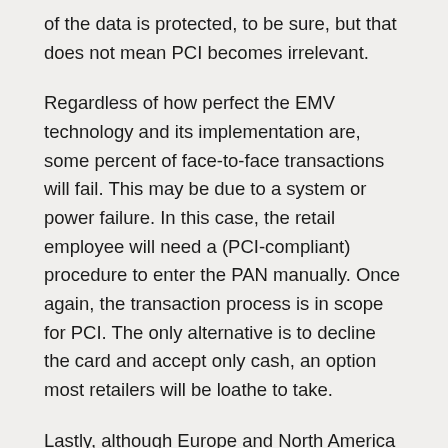of the data is protected, to be sure, but that does not mean PCI becomes irrelevant.
Regardless of how perfect the EMV technology and its implementation are, some percent of face-to-face transactions will fail. This may be due to a system or power failure. In this case, the retail employee will need a (PCI-compliant) procedure to enter the PAN manually. Once again, the transaction process is in scope for PCI. The only alternative is to decline the card and accept only cash, an option most retailers will be loathe to take.
Lastly, although Europe and North America all adopt the EMV “metric standard,” what are cardholders to do when they travel to the rest of the world? How are travelers to use their EMV metric system card that now has a fancy chip but lacks a magstripe or even